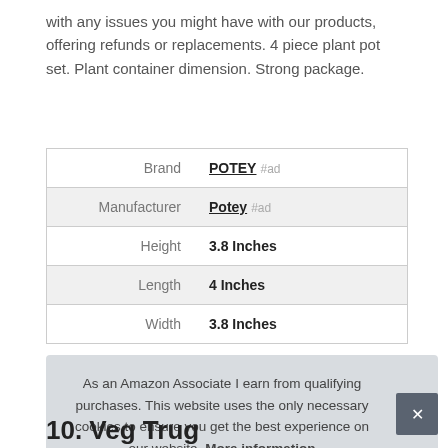with any issues you might have with our products, offering refunds or replacements. 4 piece plant pot set. Plant container dimension. Strong package.
| Brand | POTEY #ad |
| Manufacturer | Potey #ad |
| Height | 3.8 Inches |
| Length | 4 Inches |
| Width | 3.8 Inches |
As an Amazon Associate I earn from qualifying purchases. This website uses the only necessary cookies to ensure you get the best experience on our website. More information
10. Veg Trug